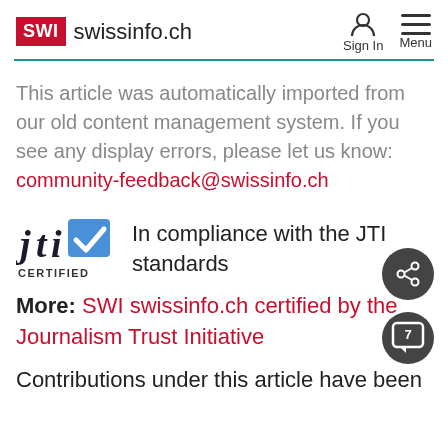SWI swissinfo.ch — Sign In  Menu
This article was automatically imported from our old content management system. If you see any display errors, please let us know: community-feedback@swissinfo.ch
[Figure (logo): JTI Certified logo with blue checkbox]
In compliance with the JTI standards
More: SWI swissinfo.ch certified by the Journalism Trust Initiative
Contributions under this article have been